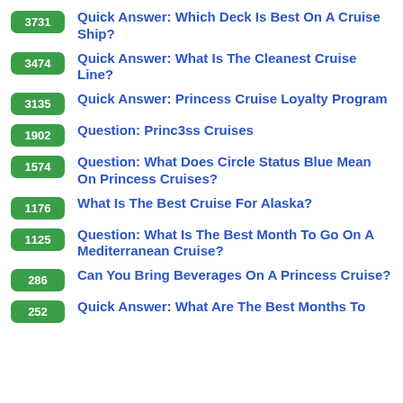3731 Quick Answer: Which Deck Is Best On A Cruise Ship?
3474 Quick Answer: What Is The Cleanest Cruise Line?
3135 Quick Answer: Princess Cruise Loyalty Program
1902 Question: Princ3ss Cruises
1574 Question: What Does Circle Status Blue Mean On Princess Cruises?
1176 What Is The Best Cruise For Alaska?
1125 Question: What Is The Best Month To Go On A Mediterranean Cruise?
286 Can You Bring Beverages On A Princess Cruise?
252 Quick Answer: What Are The Best Months To